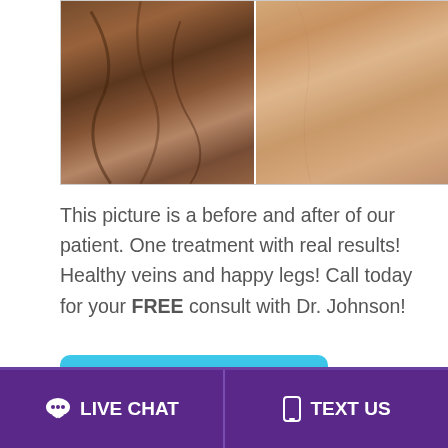[Figure (photo): Before and after photos of a patient's leg veins side by side — left shows varicose veins, right shows healthy leg after treatment]
This picture is a before and after of our patient. One treatment with real results! Healthy veins and happy legs! Call today for your FREE consult with Dr. Johnson!
Read more
Walking into Spring!
May 13th, 2019   The vein Center of Johns Creek
LIVE CHAT   TEXT US